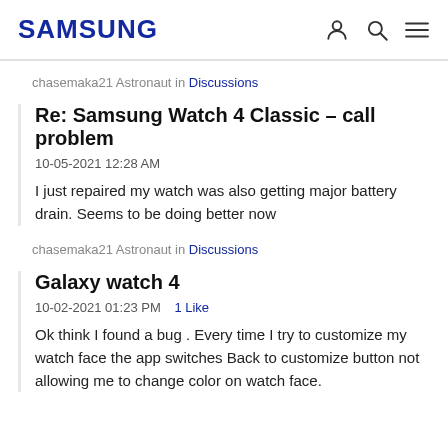SAMSUNG
chasemaka21 Astronaut in Discussions
Re: Samsung Watch 4 Classic - call problem
10-05-2021 12:28 AM
I just repaired my watch was also getting major battery drain. Seems to be doing better now
chasemaka21 Astronaut in Discussions
Galaxy watch 4
10-02-2021 01:23 PM   1 Like
Ok think I found a bug . Every time I try to customize my watch face the app switches Back to customize button not allowing me to change color on watch face.